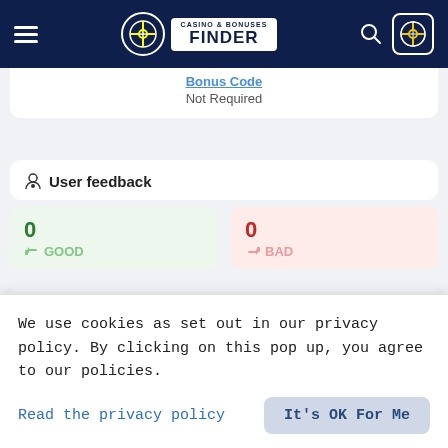Casino & Bonuses Finder
Bonus Code
Not Required
User feedback
0 GOOD
0 BAD
18+, new players only
Royalio Casino Closed
We use cookies as set out in our privacy policy. By clicking on this pop up, you agree to our policies.
Read the privacy policy
It's OK For Me